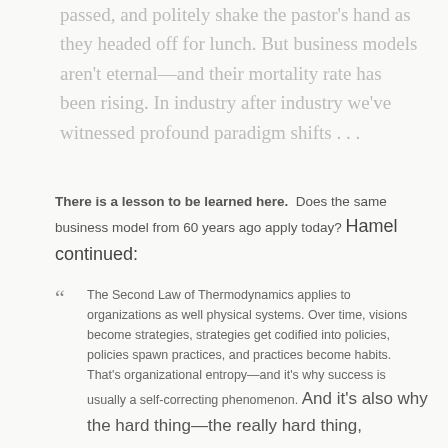passed, and politely shake the pastor's hand as they headed off for lunch. But business models aren't eternal—and their mortality rate has been rising. In industry after industry we've witnessed profound paradigm shifts . . .
There is a lesson to be learned here.  Does the same business model from 60 years ago apply today? Hamel continued:
" The Second Law of Thermodynamics applies to organizations as well physical systems. Over time, visions become strategies, strategies get codified into policies, policies spawn practices, and practices become habits. That's organizational entropy—and it's why success is usually a self-correcting phenomenon. And it's also why the hard thing—the really hard thing,